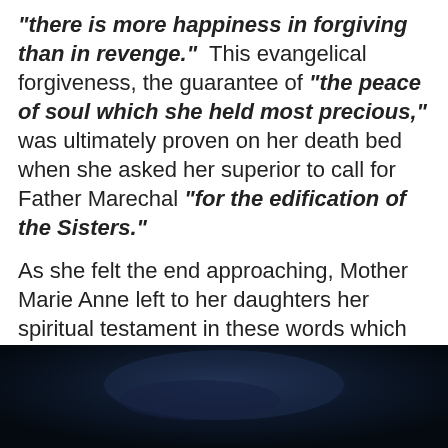"there is more happiness in forgiving than in revenge." This evangelical forgiveness, the guarantee of "the peace of soul which she held most precious," was ultimately proven on her death bed when she asked her superior to call for Father Marechal "for the edification of the Sisters."
As she felt the end approaching, Mother Marie Anne left to her daughters her spiritual testament in these words which are a resume of her whole life : "May Holy Eucharist and perfect abandonment to God's Will be your heaven on earth." She then peacefully passed away at the Motherhouse of Lachine, on 2 January 1890, "happy to go to the Good God" she had served all her life.... Vatican.va
[Figure (photo): Dark photograph, appears to be a portrait or religious image with deep blue and dark tones, partially visible at the bottom of the page.]